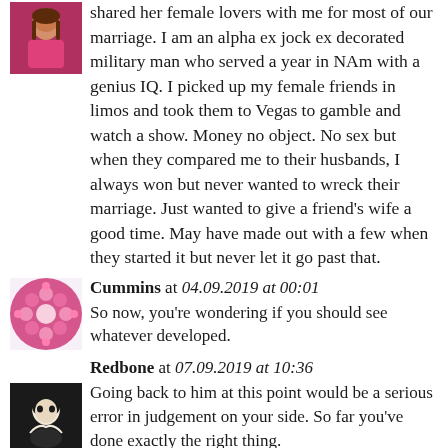shared her female lovers with me for most of our marriage. I am an alpha ex jock ex decorated military man who served a year in NAm with a genius IQ. I picked up my female friends in limos and took them to Vegas to gamble and watch a show. Money no object. No sex but when they compared me to their husbands, I always won but never wanted to wreck their marriage. Just wanted to give a friend's wife a good time. May have made out with a few when they started it but never let it go past that.
Cummins at 04.09.2019 at 00:01
So now, you're wondering if you should see whatever developed.
Redbone at 07.09.2019 at 10:36
Going back to him at this point would be a serious error in judgement on your side. So far you've done exactly the right thing.